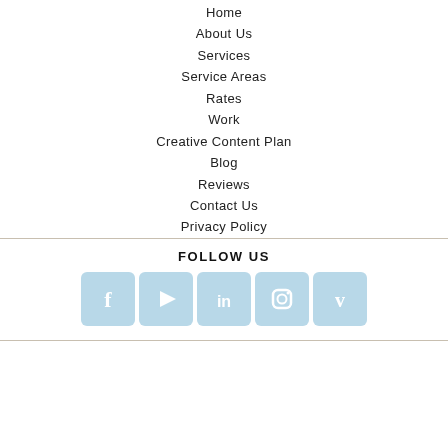Home
About Us
Services
Service Areas
Rates
Work
Creative Content Plan
Blog
Reviews
Contact Us
Privacy Policy
FOLLOW US
[Figure (infographic): Row of 5 social media icons: Facebook, YouTube/Play, LinkedIn, Instagram, Vimeo — all in light blue rounded square style]